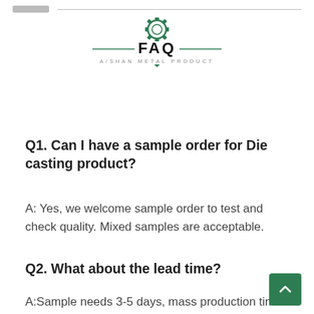[Figure (logo): FAQ logo with gear icon and 'A/SHAN METAL PRODUCT' tagline]
Q1. Can I have a sample order for Die casting product?
A: Yes, we welcome sample order to test and check quality. Mixed samples are acceptable.
Q2. What about the lead time?
A:Sample needs 3-5 days, mass production time ne 1-2 weeks for order quantity more than.